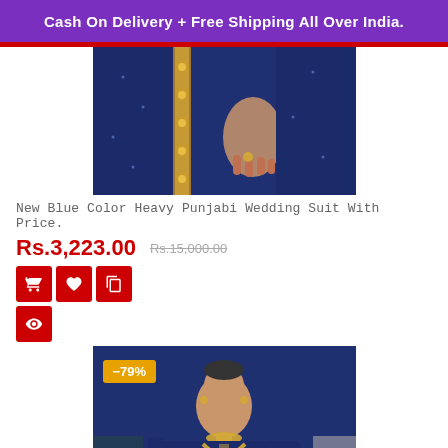Cash On Delivery + Free Shipping All Over India.
[Figure (photo): Close-up of a woman's hands holding a navy blue and gold embroidered Indian wedding suit/dupatta]
New Blue Color Heavy Punjabi Wedding Suit With Price.
Rs.3,223.00  Rs.15,000.00
[Figure (photo): Full view of a woman wearing a navy blue Punjabi wedding suit with gold embroidery, with -79% discount badge]